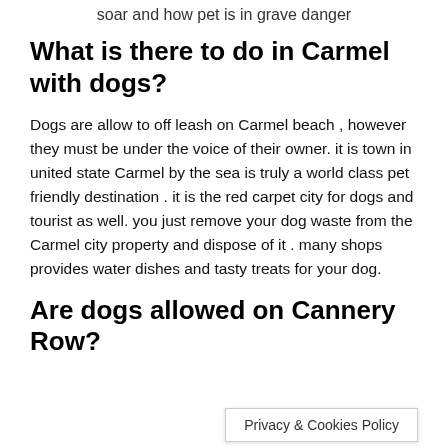soar and how pet is in grave danger
What is there to do in Carmel with dogs?
Dogs are allow to off leash on Carmel beach , however they must be under the voice of their owner. it is town in united state Carmel by the sea is truly a world class pet friendly destination . it is the red carpet city for dogs and tourist as well. you just remove your dog waste from the Carmel city property and dispose of it . many shops provides water dishes and tasty treats for your dog.
Are dogs allowed on Cannery Row?
Privacy & Cookies Policy